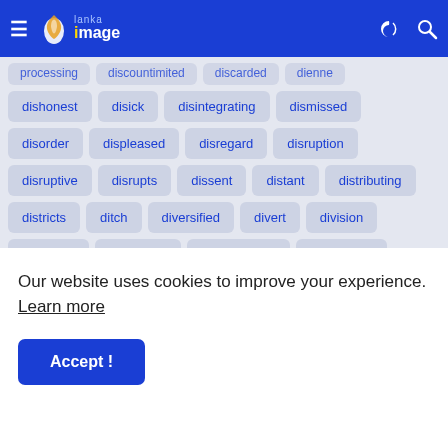Lanka Image — navigation header
dishonest
disick
disintegrating
dismissed
disorder
displeased
disregard
disruption
disruptive
disrupts
dissent
distant
distributing
districts
ditch
diversified
divert
division
divisional
document
documentary
documents
docuware
dogg
doing
dolce
dole
dollars'
domestic's
dominant
dominique
donnie
Our website uses cookies to improve your experience. Learn more
Accept !